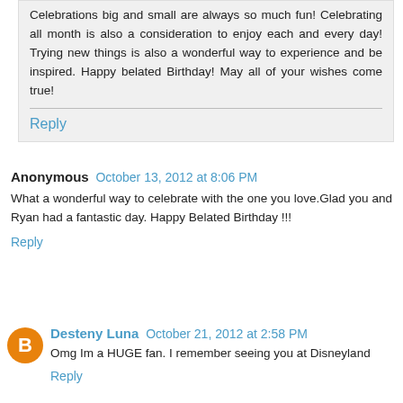Celebrations big and small are always so much fun! Celebrating all month is also a consideration to enjoy each and every day! Trying new things is also a wonderful way to experience and be inspired. Happy belated Birthday! May all of your wishes come true!
Reply
Anonymous  October 13, 2012 at 8:06 PM
What a wonderful way to celebrate with the one you love.Glad you and Ryan had a fantastic day. Happy Belated Birthday !!!
Reply
Desteny Luna  October 21, 2012 at 2:58 PM
Omg Im a HUGE fan. I remember seeing you at Disneyland
Reply